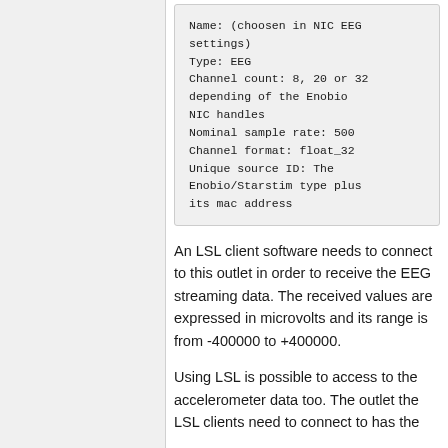Name: (choosen in NIC EEG settings)
Type: EEG
Channel count: 8, 20 or 32 depending of the Enobio NIC handles
Nominal sample rate: 500
Channel format: float_32
Unique source ID: The Enobio/Starstim type plus its mac address
An LSL client software needs to connect to this outlet in order to receive the EEG streaming data. The received values are expressed in microvolts and its range is from -400000 to +400000.
Using LSL is possible to access to the accelerometer data too. The outlet the LSL clients need to connect to has the